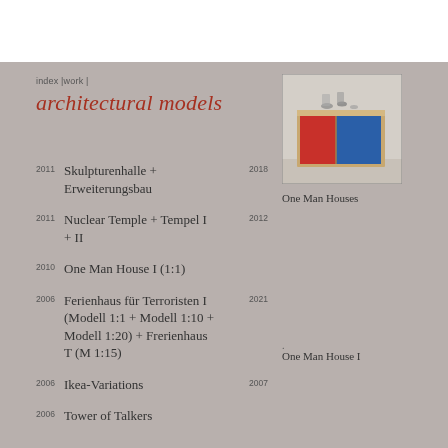index |work |
architectural models
[Figure (photo): Photo of architectural model: a cube-shaped structure with red and blue panels and wooden frame, viewed from corner, with model objects on top.]
One Man Houses
2011 Skulpturenhalle + Erweiterungsbau 2018
2011 Nuclear Temple + Tempel I + II 2012
2010 One Man House I (1:1)
2006 Ferienhaus für Terroristen I (Modell 1:1 + Modell 1:10 + Modell 1:20) + Frerienhaus T (M 1:15) 2021
2006 Ikea-Variations 2007
2006 Tower of Talkers
One Man House I